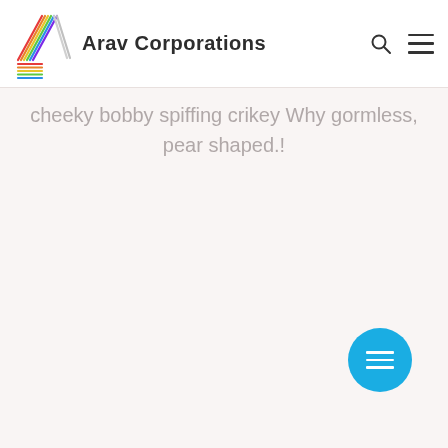Arav Corporations
cheeky bobby spiffing crikey Why gormless, pear shaped.!